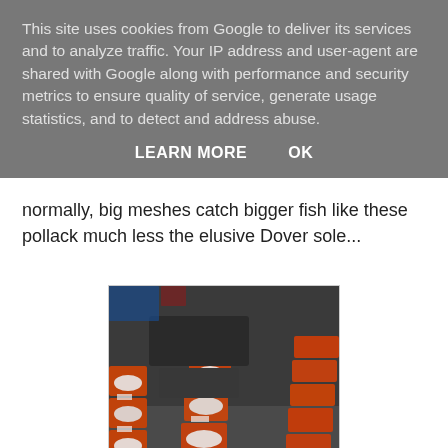This site uses cookies from Google to deliver its services and to analyze traffic. Your IP address and user-agent are shared with Google along with performance and security metrics to ensure quality of service, generate usage statistics, and to detect and address abuse.
LEARN MORE    OK
normally, big meshes catch bigger fish like these pollack much less the elusive Dover sole...
[Figure (photo): Fish market scene with orange plastic bins/crates filled with white fish fillets arranged in rows on a wet surface, with equipment and more bins visible in the background]